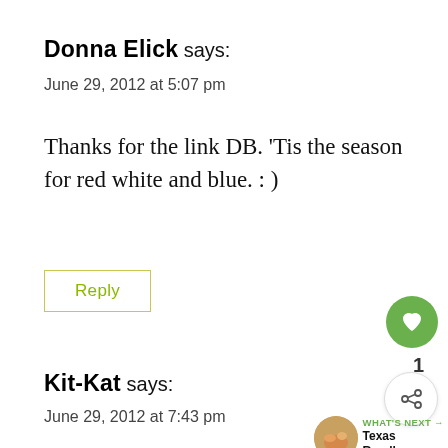Donna Elick says:
June 29, 2012 at 5:07 pm
Thanks for the link DB. 'Tis the season for red white and blue. : )
Reply
Kit-Kat says:
June 29, 2012 at 7:43 pm
I pinned the recipe. I can't wait to try it!